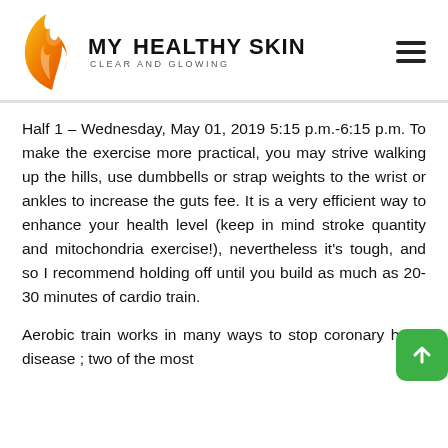[Figure (logo): My Healthy Skin - Clear and Glowing logo with orange flame/face silhouette and hamburger menu icon]
Half 1 – Wednesday, May 01, 2019 5:15 p.m.-6:15 p.m. To make the exercise more practical, you may strive walking up the hills, use dumbbells or strap weights to the wrist or ankles to increase the guts fee. It is a very efficient way to enhance your health level (keep in mind stroke quantity and mitochondria exercise!), nevertheless it's tough, and so I recommend holding off until you build as much as 20-30 minutes of cardio train.
Aerobic train works in many ways to stop coronary heart disease ; two of the most